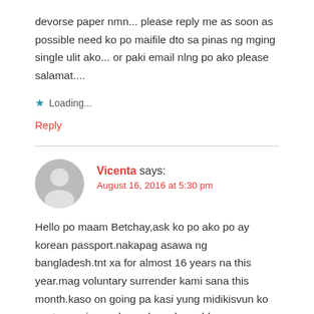devorse paper nmn... please reply me as soon as possible need ko po maifile dto sa pinas ng mging single ulit ako... or paki email nlng po ako please salamat....
Loading...
Reply
Vicenta says:
August 16, 2016 at 5:30 pm
Hello po maam Betchay,ask ko po ako po ay korean passport.nakapag asawa ng bangladesh.tnt xa for almost 16 years na this year.mag voluntary surrender kami sana this month.kaso on going pa kasi yung midikisvun ko gustu namin magkaanak pagkaproblema